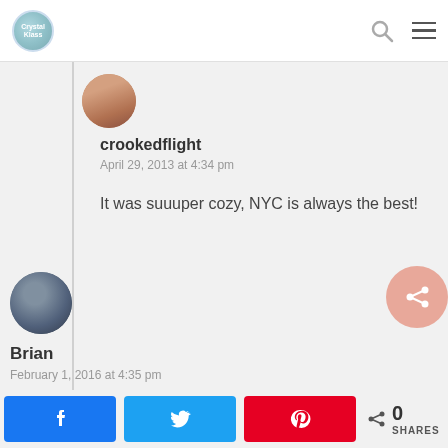Crystal Klass blog – navigation bar
crookedflight
April 29, 2013 at 4:34 pm
It was suuuper cozy, NYC is always the best!
Brian
February 1, 2016 at 4:35 pm
Reply
I stayed here a few years ago. It was a great value for what I paid. It wasn't ver:
0 SHARES